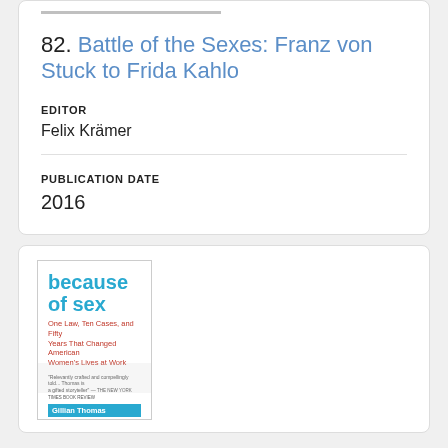82. Battle of the Sexes: Franz von Stuck to Frida Kahlo
EDITOR
Felix Krämer
PUBLICATION DATE
2016
[Figure (illustration): Book cover of 'because of sex: One Law, Ten Cases, and Fifty Years That Changed American Women's Lives at Work' by Gillian Thomas, published by Picador]